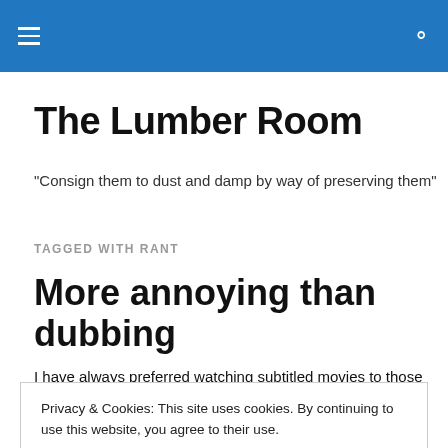The Lumber Room [site header with hamburger menu and search icon]
The Lumber Room
"Consign them to dust and damp by way of preserving them"
TAGGED WITH RANT
More annoying than dubbing
I have always preferred watching subtitled movies to those
Privacy & Cookies: This site uses cookies. By continuing to use this website, you agree to their use.
To find out more, including how to control cookies, see here: Cookie Policy
Close and accept